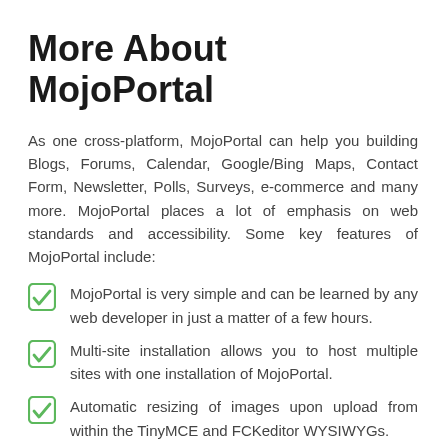More About MojoPortal
As one cross-platform, MojoPortal can help you building Blogs, Forums, Calendar, Google/Bing Maps, Contact Form, Newsletter, Polls, Surveys, e-commerce and many more. MojoPortal places a lot of emphasis on web standards and accessibility. Some key features of MojoPortal include:
MojoPortal is very simple and can be learned by any web developer in just a matter of a few hours.
Multi-site installation allows you to host multiple sites with one installation of MojoPortal.
Automatic resizing of images upon upload from within the TinyMCE and FCKeditor WYSIWYGs.
Content and Content Style Templates are built-in to both TinyMCE and FCKeditor. A site admin can create custom templates and they will be accessible to site